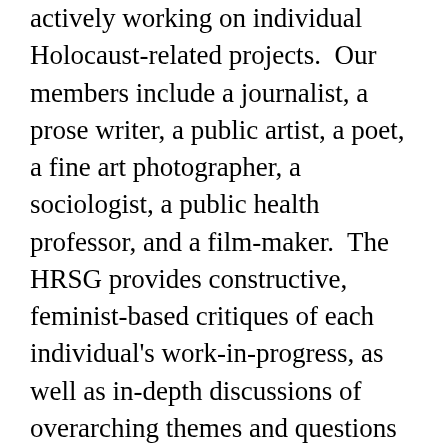actively working on individual Holocaust-related projects.  Our members include a journalist, a prose writer, a public artist, a poet, a fine art photographer, a sociologist, a public health professor, and a film-maker.  The HRSG provides constructive, feminist-based critiques of each individual's work-in-progress, as well as in-depth discussions of overarching themes and questions relating to the Holocaust including how gender affects evolving Holocaust narratives as well as the methodology, process, and product of individual projects.  The group holds annual public events at Brandeis University sponsored by HBI to engage Brandeis University participation and initiate a wider national and international dialogue on the